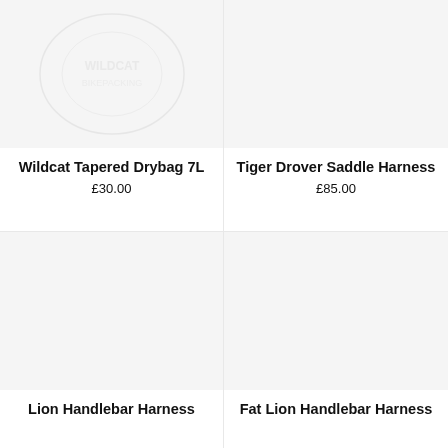[Figure (photo): Product image placeholder for Wildcat Tapered Drybag 7L with faint watermark logo]
Wildcat Tapered Drybag 7L
£30.00
[Figure (photo): Product image placeholder for Tiger Drover Saddle Harness, light grey background]
Tiger Drover Saddle Harness
£85.00
[Figure (photo): Product image placeholder for Lion Handlebar Harness, light grey background]
Lion Handlebar Harness
[Figure (photo): Product image placeholder for Fat Lion Handlebar Harness, light grey background]
Fat Lion Handlebar Harness